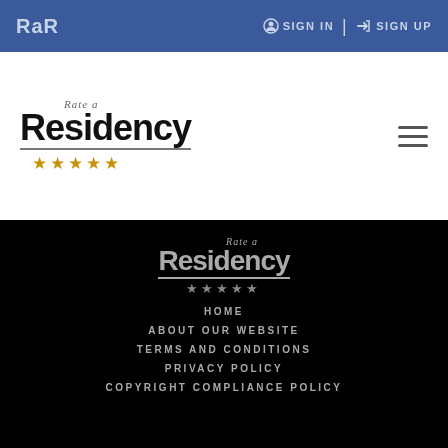RaR | SIGN IN | SIGN UP
[Figure (logo): Rate a Residency logo with stars in white header section]
[Figure (logo): Rate a Residency logo with stars in black footer section]
HOME
ABOUT OUR WEBSITE
TERMS AND CONDITIONS
PRIVACY POLICY
COPYRIGHT COMPLIANCE POLICY